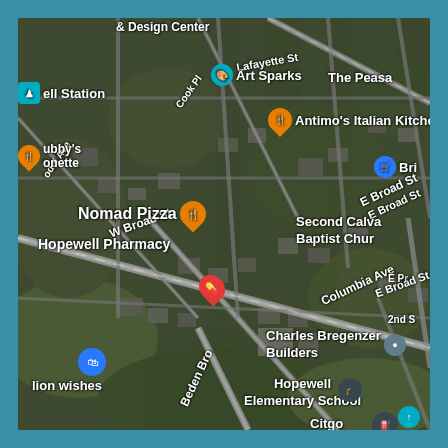[Figure (map): Google Maps satellite/aerial view of Hopewell area showing streets including Lafayette St, E Broad St, W Broad St, Columbia Ave, Beden Brook road, Cook Pl, Model Ave. Points of interest include: Art Sparks, Antimo's Italian Kitchen, Nomad Pizza, Hopewell Pharmacy, Charles Bregenzer Builders, Hopewell Elementary School, Citgo, The Peasa, lion wishes, Second Calvary Baptist Church. Various map pins shown in orange, teal, blue, red and navy colors.]